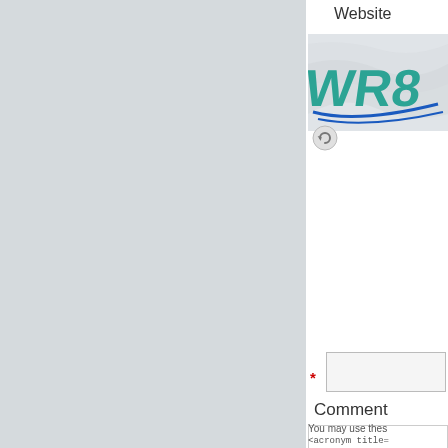Website
[Figure (photo): Banner image with stylized 'WR8' text in teal and blue on a light fabric/flag background]
[Figure (other): Refresh/reload icon (circular arrows) in gray]
*
Comment
You may use these
<acronym title=